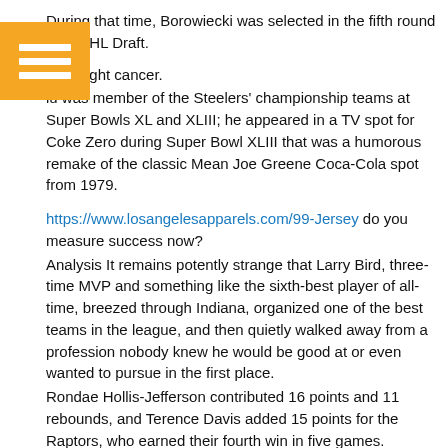During that time, Borowiecki was selected in the fifth round [of the 2]008 NHL Draft.
[...] can fight cancer.
[...] was member of the Steelers' championship teams at Super Bowls XL and XLIII; he appeared in a TV spot for Coke Zero during Super Bowl XLIII that was a humorous remake of the classic Mean Joe Greene Coca-Cola spot from 1979.
https://www.losangelesapparels.com/99-Jersey do you measure success now?
Analysis It remains potently strange that Larry Bird, three-time MVP and something like the sixth-best player of all-time, breezed through Indiana, organized one of the best teams in the league, and then quietly walked away from a profession nobody knew he would be good at or even wanted to pursue in the first place.
Rondae Hollis-Jefferson contributed 16 points and 11 rebounds, and Terence Davis added 15 points for the Raptors, who earned their fourth win in five games.
Antonio Brown The Top 10 Most Tweeted About Female Athletes in 2019 per Twitter Sports 1.
Jacksonville Jaguars 10.